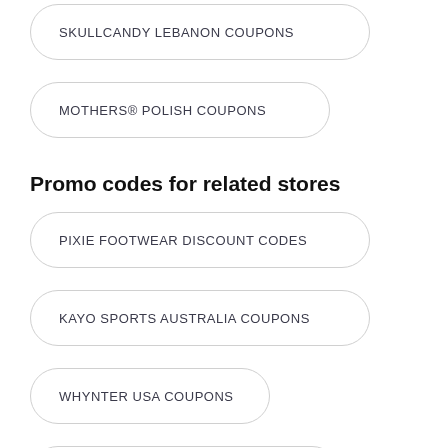SKULLCANDY LEBANON COUPONS
MOTHERS® POLISH COUPONS
Promo codes for related stores
PIXIE FOOTWEAR DISCOUNT CODES
KAYO SPORTS AUSTRALIA COUPONS
WHYNTER USA COUPONS
TOUGH HOOK DISCOUNT CODES